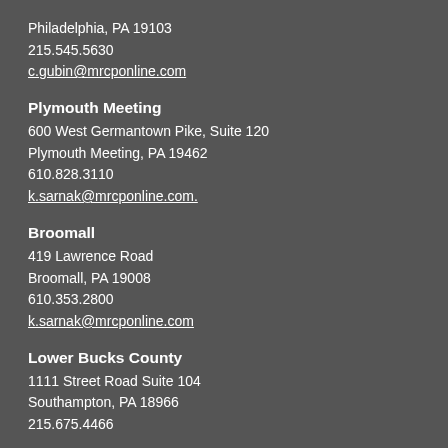Philadelphia, PA 19103
215.545.5630
c.gubin@mrcponline.com
Plymouth Meeting
600 West Germantown Pike, Suite 120
Plymouth Meeting, PA 19462
610.828.3110
k.sarnak@mrcponline.com.
Broomall
419 Lawrence Road
Broomall, PA 19008
610.353.2800
k.sarnak@mrcponline.com
Lower Bucks County
1111 Street Road Suite 104
Southampton, PA 18966
215.675.4466